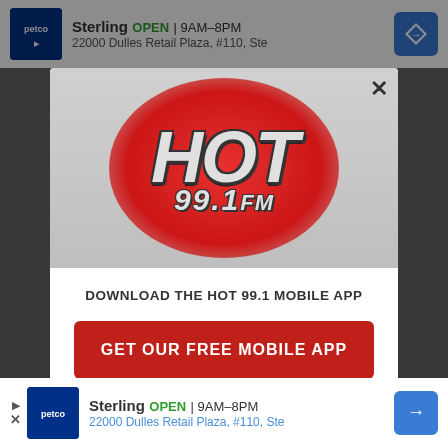[Figure (screenshot): Top Petco advertisement banner showing store name Sterling, OPEN 9AM-8PM, 22000 Dulles Retail Plaza, #110, Ste with navigation icon]
[Figure (logo): Hot 99.1 FM radio station logo with red radial glow background on gray, styled graffiti text]
DOWNLOAD THE HOT 99.1 MOBILE APP
GET OUR FREE MOBILE APP
Also listen on:  amazon alexa
[Figure (screenshot): Bottom Petco advertisement banner showing store name Sterling, OPEN 9AM-8PM, 22000 Dulles Retail Plaza, #110, Ste with navigation icon]